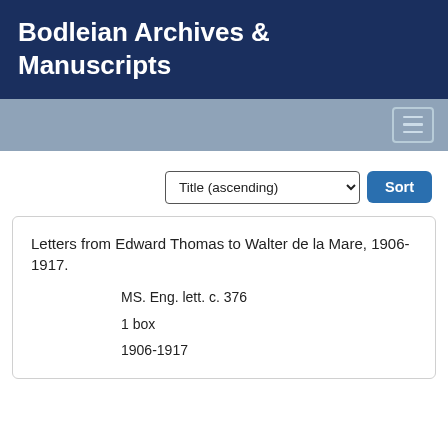Bodleian Archives & Manuscripts
[Figure (screenshot): Navigation bar with hamburger menu button]
[Figure (screenshot): Sort dropdown showing 'Title (ascending)' and Sort button]
Letters from Edward Thomas to Walter de la Mare, 1906-1917.
MS. Eng. lett. c. 376
1 box
1906-1917